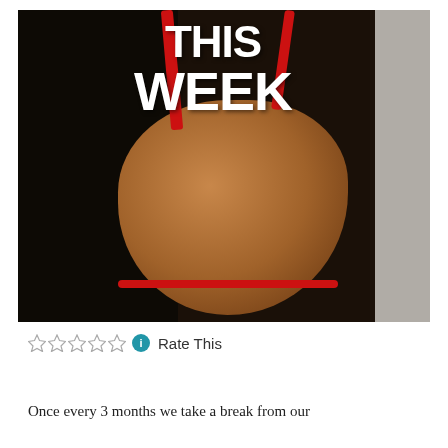[Figure (photo): Photo of a leather bag with red straps hanging, with bold white text overlay reading 'THIS WEEK' at the top]
☆☆☆☆☆ ℹ Rate This
Once every 3 months we take a break from our